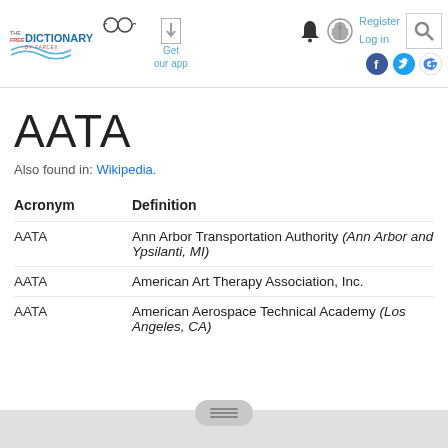[Figure (logo): The Free Dictionary by Farlex logo with glasses icon]
AATA
Also found in: Wikipedia.
| Acronym | Definition |
| --- | --- |
| AATA | Ann Arbor Transportation Authority (Ann Arbor and Ypsilanti, MI) |
| AATA | American Art Therapy Association, Inc. |
| AATA | American Aerospace Technical Academy (Los Angeles, CA) |